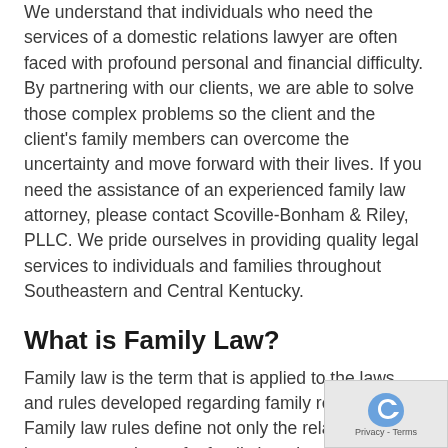We understand that individuals who need the services of a domestic relations lawyer are often faced with profound personal and financial difficulty. By partnering with our clients, we are able to solve those complex problems so the client and the client's family members can overcome the uncertainty and move forward with their lives. If you need the assistance of an experienced family law attorney, please contact Scoville-Bonham & Riley, PLLC. We pride ourselves in providing quality legal services to individuals and families throughout Southeastern and Central Kentucky.
What is Family Law?
Family law is the term that is applied to the laws and rules developed regarding family relationships. Family law rules define not only the relationships between members of a family but also between a family and society as a whole. More than any other area of the law, family law reflects the values society shares